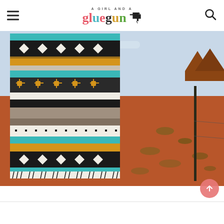A Girl and a Glue Gun — blog header with navigation hamburger menu and search icon
[Figure (photo): A colorful Aztec/Navajo-style woven rug blanket displayed hanging outdoors against a desert landscape (Monument Valley-style red dirt terrain with mesa buttes in the background). The rug features geometric patterns in teal, black, white, gold/mustard, and gray stripes with diamond and cross motifs.]